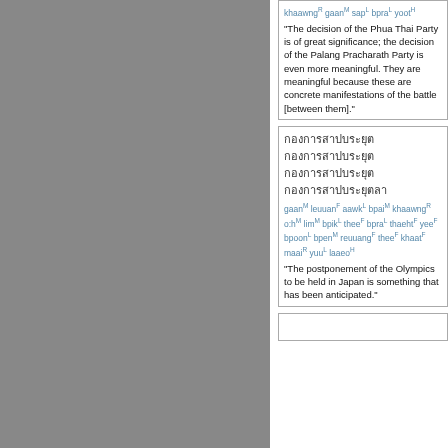khaawngR gaanM sapL bpraL yootH "The decision of the Phua Thai Party is of great significance; the decision of the Palang Pracharath Party is even more meaningful. They are meaningful because these are concrete manifestations of the battle [between them]."
Thai script block. gaanM leuuanF aawkL bpaiM khaawngR o:hM limM bpikL theeF bpraL thaehtF yeeF bpoonL bpenM reuuangF theeF khaatF maaiR yuuL laaeoH "The postponement of the Olympics to be held in Japan is something that has been anticipated."